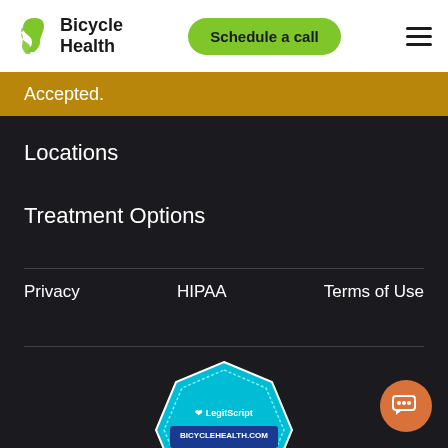Bicycle Health — Schedule a call [hamburger menu]
Accepted.
Locations
Treatment Options
Privacy   HIPAA   Terms of Use
[Figure (logo): LegitScript Certified badge for BICYCLEHEALTH.COM dated 08/31/22]